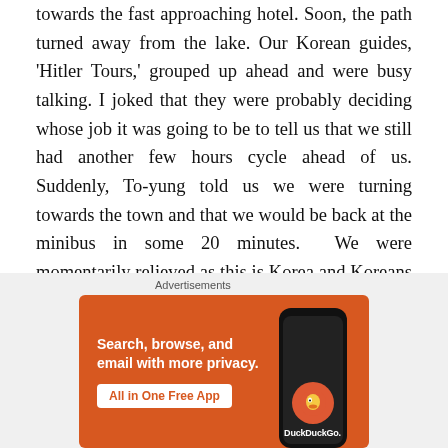towards the fast approaching hotel. Soon, the path turned away from the lake. Our Korean guides, 'Hitler Tours,' grouped up ahead and were busy talking. I joked that they were probably deciding whose job it was going to be to tell us that we still had another few hours cycle ahead of us. Suddenly, To-yung told us we were turning towards the town and that we would be back at the minibus in some 20 minutes.  We were momentarily relieved as this is Korea and Koreans and often lacking in organisation.

After more cycling, I noticed that the fairground wheel which had lain behind the hotel now lay behind us and that
[Figure (other): DuckDuckGo advertisement banner with orange background. Text: 'Search, browse, and email with more privacy. All in One Free App'. Shows a smartphone and DuckDuckGo logo.]